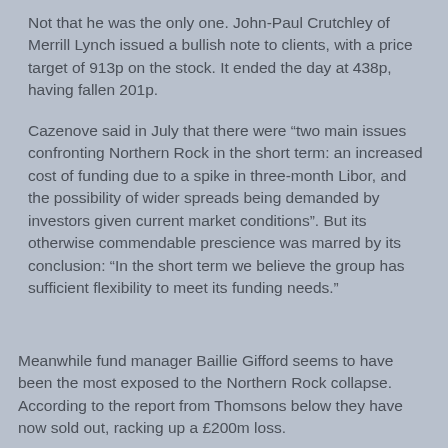Not that he was the only one. John-Paul Crutchley of Merrill Lynch issued a bullish note to clients, with a price target of 913p on the stock. It ended the day at 438p, having fallen 201p.
Cazenove said in July that there were “two main issues confronting Northern Rock in the short term: an increased cost of funding due to a spike in three-month Libor, and the possibility of wider spreads being demanded by investors given current market conditions”. But its otherwise commendable prescience was marred by its conclusion: “In the short term we believe the group has sufficient flexibility to meet its funding needs.”
Meanwhile fund manager Baillie Gifford seems to have been the most exposed to the Northern Rock collapse. According to the report from Thomsons below they have now sold out, racking up a £200m loss.